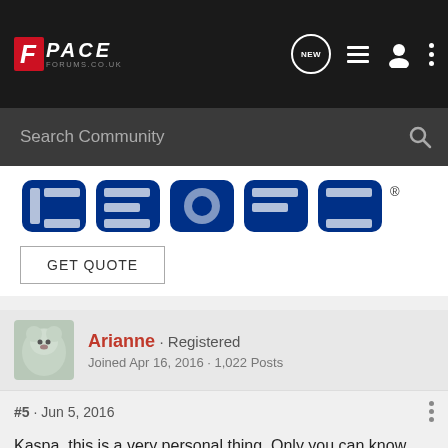F PACE FORUMS.CO.UK
[Figure (screenshot): GEICO advertisement banner with logo and GET QUOTE button]
Arianne · Registered
Joined Apr 16, 2016 · 1,022 Posts
#5 · Jun 5, 2016
Kaspa, this is a very personal thing. Only you can know whether it will be sufficient for you. The price jump for accessing the bigger V6 cars is huge and it is a dilemma. But you should test drive both and decide whether one or the other is the right